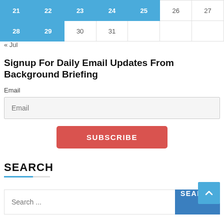| 21 | 22 | 23 | 24 | 25 | 26 | 27 |
| 28 | 29 | 30 | 31 |  |  |  |
« Jul
Signup For Daily Email Updates From Background Briefing
Email
SUBSCRIBE
SEARCH
Search ...
SEARCH